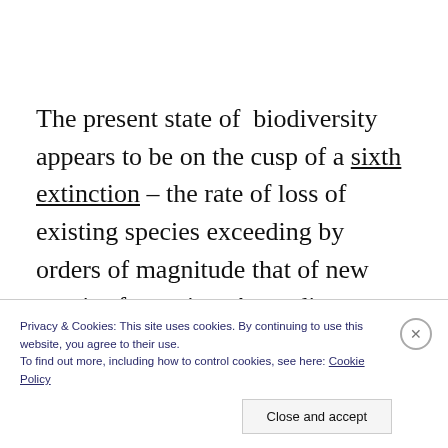The present state of  biodiversity appears to be on the cusp of a sixth extinction – the rate of loss of existing species exceeding by orders of magnitude that of new species formation. According to those who study these things, anything approaching this scale
Privacy & Cookies: This site uses cookies. By continuing to use this website, you agree to their use.
To find out more, including how to control cookies, see here: Cookie Policy
Close and accept